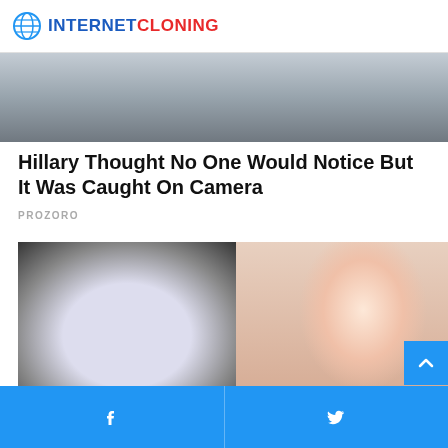INTERNET CLONING
[Figure (photo): Outdoor scene with people's legs visible, blurred background]
Hillary Thought No One Would Notice But It Was Caught On Camera
PROZORO
[Figure (photo): Left: a pan with white substance and a spoon; Right: a smiling blonde woman with a white face mask applied]
Facebook and Twitter share buttons